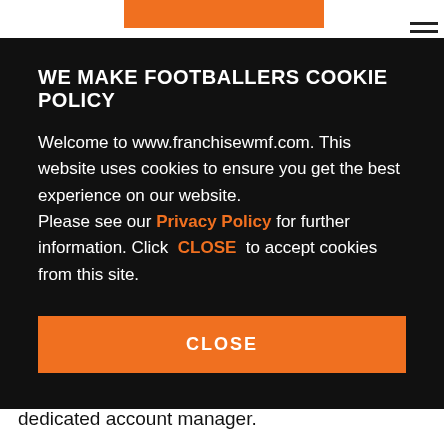WE MAKE FOOTBALLERS COOKIE POLICY
Welcome to www.franchisewmf.com. This website uses cookies to ensure you get the best experience on our website. Please see our Privacy Policy for further information. Click CLOSE to accept cookies from this site.
CLOSE
franchisee's strong point? Well, that does not matter either. We Make Footballers provide a dedicated account manager.